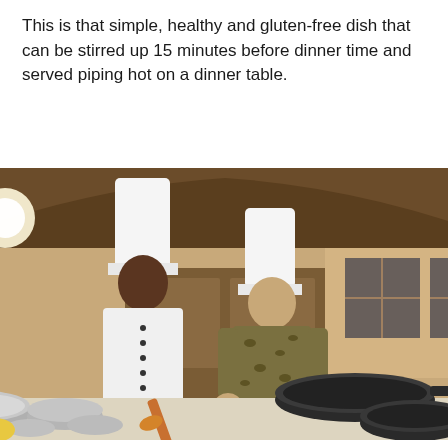This is that simple, healthy and gluten-free dish that can be stirred up 15 minutes before dinner time and served piping hot on a dinner table.
[Figure (photo): Two people wearing tall white chef hats standing behind a table covered with cooking pots, pans, and ingredients in what appears to be a restaurant or cooking demonstration setting. One person is wearing a white chef's uniform with gloves, and the other is wearing a leopard-print top.]